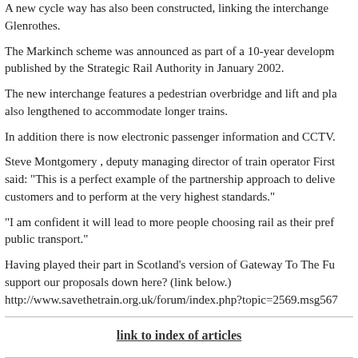A new cycle way has also been constructed, linking the interchange Glenrothes.
The Markinch scheme was announced as part of a 10-year development published by the Strategic Rail Authority in January 2002.
The new interchange features a pedestrian overbridge and lift and pla also lengthened to accommodate longer trains.
In addition there is now electronic passenger information and CCTV.
Steve Montgomery , deputy managing director of train operator First said: "This is a perfect example of the partnership approach to delive customers and to perform at the very highest standards."
"I am confident it will lead to more people choosing rail as their pref public transport."
Having played their part in Scotland's version of Gateway To The Fu support our proposals down here? (link below.) http://www.savethetrain.org.uk/forum/index.php?topic=2569.msg567
link to index of articles